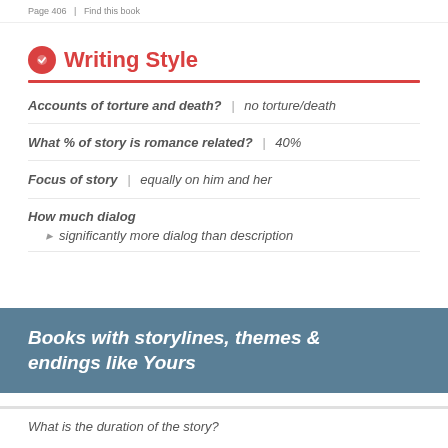Page 406   |   Find this book
Writing Style
Accounts of torture and death?  |  no torture/death
What % of story is romance related?  |  40%
Focus of story  |  equally on him and her
How much dialog
significantly more dialog than description
Books with storylines, themes & endings like Yours
What is the duration of the story?